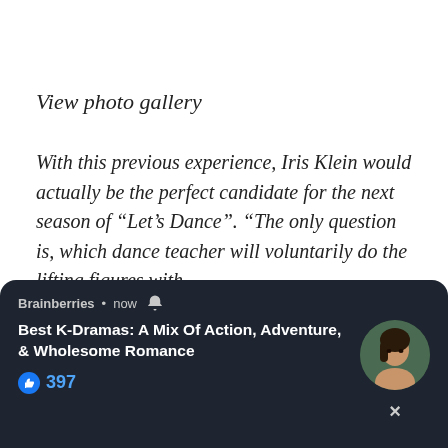View photo gallery
With this previous experience, Iris Klein would actually be the perfect candidate for the next season of “Let’s Dance”. “The only question is, which dance teacher will voluntarily do the lifting figures with
We use cookies on our website to give you the most relevant experience by remembering your preferences and rep... use... Set...
[Figure (screenshot): Push notification overlay from Brainberries. Title: Best K-Dramas: A Mix Of Action, Adventure, & Wholesome Romance. Likes: 397. Dark background with circular avatar of a woman.]